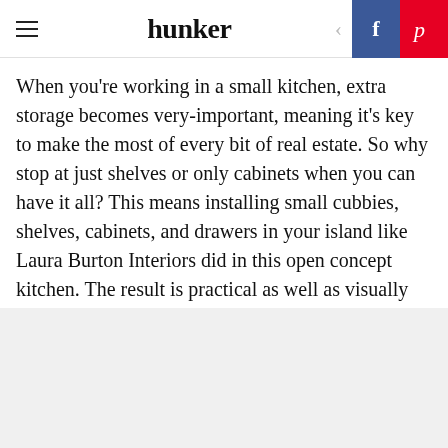hunker
When you're working in a small kitchen, extra storage becomes very-important, meaning it's key to make the most of every bit of real estate. So why stop at just shelves or only cabinets when you can have it all? This means installing small cubbies, shelves, cabinets, and drawers in your island like Laura Burton Interiors did in this open concept kitchen. The result is practical as well as visually interesting.
Advertisement